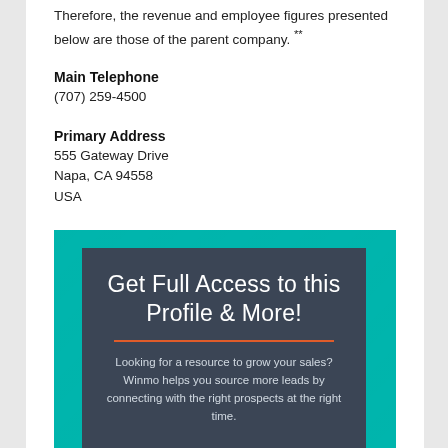Therefore, the revenue and employee figures presented below are those of the parent company. **
Main Telephone
(707) 259-4500
Primary Address
555 Gateway Drive
Napa, CA 94558
USA
[Figure (infographic): Advertisement banner with teal background and dark overlay box. Title reads 'Get Full Access to this Profile & More!' with an orange divider line. Body text: 'Looking for a resource to grow your sales? Winmo helps you source more leads by connecting with the right prospects at the right time.']